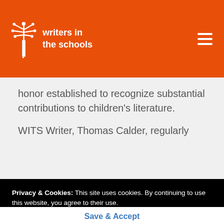writers in the schools
honor established to recognize substantial contributions to children's literature.
WITS Writer, Thomas Calder, regularly
Privacy & Cookies: This site uses cookies. By continuing to use this website, you agree to their use.
For more information please view our Terms of Use and Privacy Statement.
Save & Accept